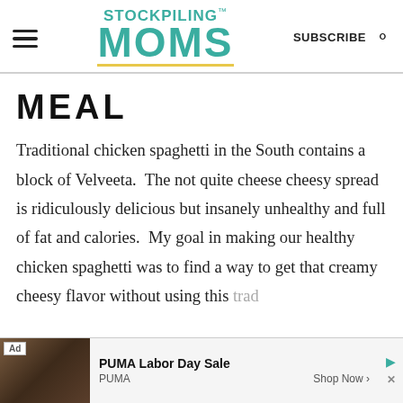STOCKPILING MOMS — SUBSCRIBE
MEAL
Traditional chicken spaghetti in the South contains a block of Velveeta.  The not quite cheese cheesy spread is ridiculously delicious but insanely unhealthy and full of fat and calories.  My goal in making our healthy chicken spaghetti was to find a way to get that creamy cheesy flavor without using this trad... hat I ma...
[Figure (screenshot): Ad banner at the bottom: PUMA Labor Day Sale advertisement with image, Ad label, brand name PUMA, and Shop Now button]